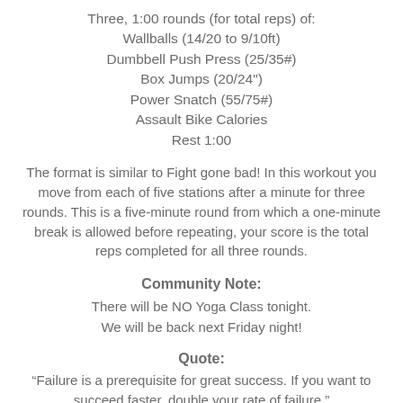Three, 1:00 rounds (for total reps) of:
Wallballs (14/20 to 9/10ft)
Dumbbell Push Press (25/35#)
Box Jumps (20/24")
Power Snatch (55/75#)
Assault Bike Calories
Rest 1:00
The format is similar to Fight gone bad! In this workout you move from each of five stations after a minute for three rounds. This is a five-minute round from which a one-minute break is allowed before repeating, your score is the total reps completed for all three rounds.
Community Note:
There will be NO Yoga Class tonight.
We will be back next Friday night!
Quote:
“Failure is a prerequisite for great success. If you want to succeed faster, double your rate of failure.”